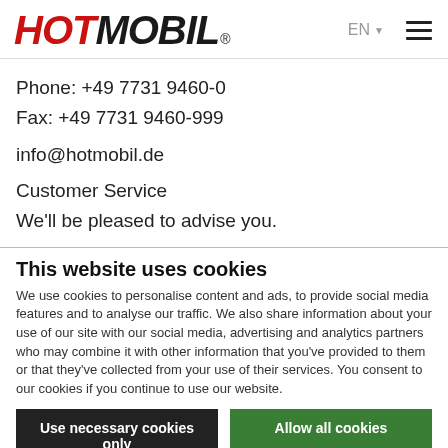[Figure (logo): HOTMOBIL logo in red and black bold italic text with registered trademark symbol]
Phone: +49 7731 9460-0
Fax: +49 7731 9460-999
info@hotmobil.de
Customer Service
We'll be pleased to advise you.
This website uses cookies
We use cookies to personalise content and ads, to provide social media features and to analyse our traffic. We also share information about your use of our site with our social media, advertising and analytics partners who may combine it with other information that you've provided to them or that they've collected from your use of their services. You consent to our cookies if you continue to use our website.
Use necessary cookies only
Allow all cookies
Show details